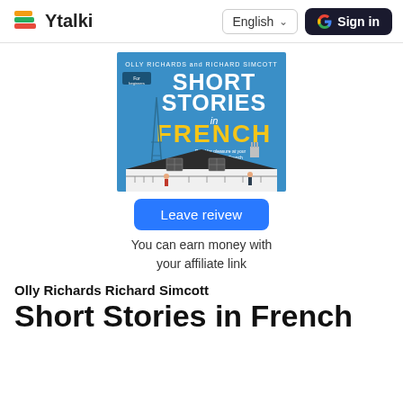Ytalki  English  Sign in
[Figure (photo): Book cover of 'Short Stories in French' by Olly Richards and Richard Simcott. Blue cover with Eiffel Tower and a French house illustration. Large text reads SHORT STORIES in French in yellow.]
Leave reivew
You can earn money with your affiliate link
Olly Richards Richard Simcott
Short Stories in French